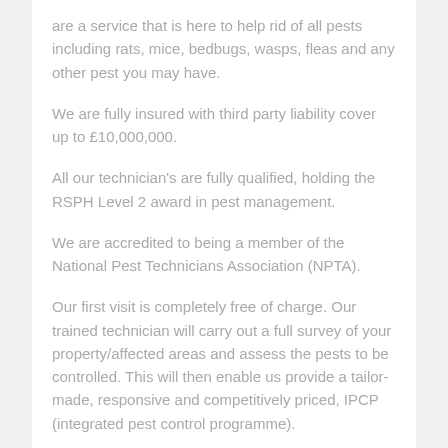are a service that is here to help rid of all pests including rats, mice, bedbugs, wasps, fleas and any other pest you may have.
We are fully insured with third party liability cover up to £10,000,000.
All our technician's are fully qualified, holding the RSPH Level 2 award in pest management.
We are accredited to being a member of the National Pest Technicians Association (NPTA).
Our first visit is completely free of charge. Our trained technician will carry out a full survey of your property/affected areas and assess the pests to be controlled. This will then enable us provide a tailor-made, responsive and competitively priced, IPCP (integrated pest control programme).